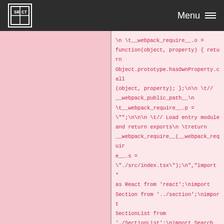SR CT  Menu
\n \t__webpack_require__.o = function(object, property) { return Object.prototype.hasOwnProperty.call(object, property); };\n\n \t// __webpack_public_path__\n \t__webpack_require__.p = "\"";\n\n\n \t// Load entry module and return exports\n \t\treturn __webpack_require__(__webpack_require__.s = \"./src/index.tsx\");\n","import * as React from 'react';\nimport Section from '../section';\nimport SectionList from './SectionList';\nimport Search from './Search';\n\ninterface State {\n    currentSchedule: Section[];\n}\n\nclass App extends React.Component<any, State> {\n    constructor(props: any) {\n